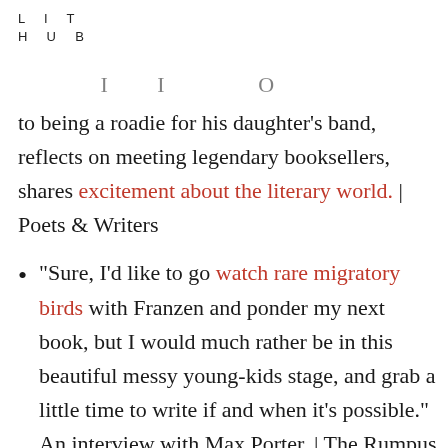LIT
HUB
to being a roadie for his daughter’s band, reflects on meeting legendary booksellers, shares excitement about the literary world. | Poets & Writers
“Sure, I’d like to go watch rare migratory birds with Franzen and ponder my next book, but I would much rather be in this beautiful messy young-kids stage, and grab a little time to write if and when it’s possible.” An interview with Max Porter. | The Rumpus
“A …